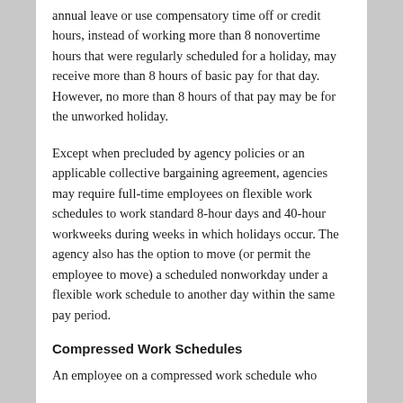annual leave or use compensatory time off or credit hours, instead of working more than 8 nonovertime hours that were regularly scheduled for a holiday, may receive more than 8 hours of basic pay for that day. However, no more than 8 hours of that pay may be for the unworked holiday.
Except when precluded by agency policies or an applicable collective bargaining agreement, agencies may require full-time employees on flexible work schedules to work standard 8-hour days and 40-hour workweeks during weeks in which holidays occur. The agency also has the option to move (or permit the employee to move) a scheduled nonworkday under a flexible work schedule to another day within the same pay period.
Compressed Work Schedules
An employee on a compressed work schedule who